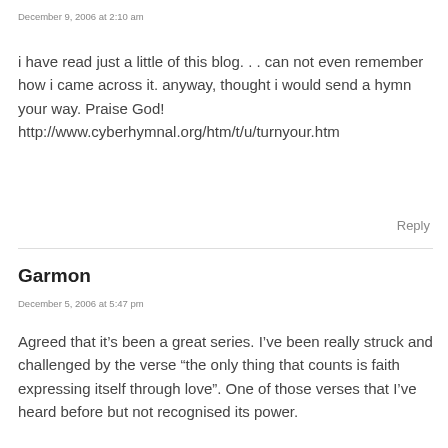December 9, 2006 at 2:10 am
i have read just a little of this blog. . . can not even remember how i came across it. anyway, thought i would send a hymn your way. Praise God!
http://www.cyberhymnal.org/htm/t/u/turnyour.htm
Reply
Garmon
December 5, 2006 at 5:47 pm
Agreed that it’s been a great series. I’ve been really struck and challenged by the verse “the only thing that counts is faith expressing itself through love”. One of those verses that I’ve heard before but not recognised its power.